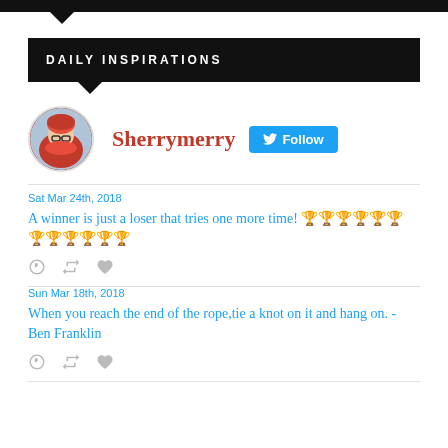DAILY INSPIRATIONS
[Figure (photo): Circular avatar photo of a woman wearing red clothing and glasses in cold weather]
Sherrymerry   Follow
Sat Mar 24th, 2018
A winner is just a loser that tries one more time! 🏆🏆🏆🏆🏆🏆🏆🏆🏆🏆🏆🏆
Sun Mar 18th, 2018
When you reach the end of the rope,tie a knot on it and hang on. - Ben Franklin